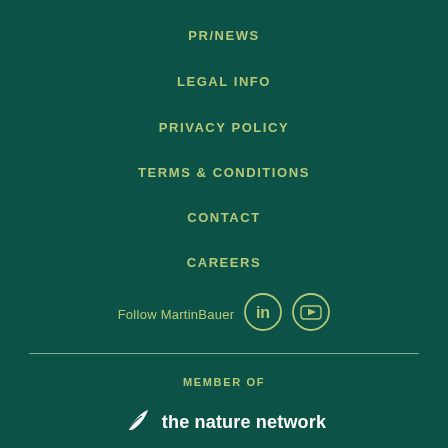PR/NEWS
LEGAL INFO
PRIVACY POLICY
TERMS & CONDITIONS
CONTACT
CAREERS
Follow MartinBauer
[Figure (logo): LinkedIn and YouTube social media icons in circles]
MEMBER OF
[Figure (logo): The nature network logo with leaf icon]